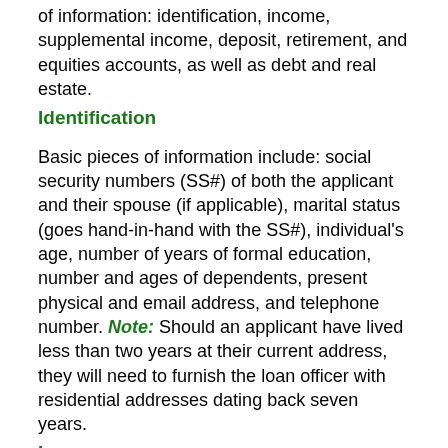of information: identification, income, supplemental income, deposit, retirement, and equities accounts, as well as debt and real estate.
Identification
Basic pieces of information include: social security numbers (SS#) of both the applicant and their spouse (if applicable), marital status (goes hand-in-hand with the SS#), individual's age, number of years of formal education, number and ages of dependents, present physical and email address, and telephone number. Note: Should an applicant have lived less than two years at their current address, they will need to furnish the loan officer with residential addresses dating back seven years.
Income
A loan officer's central concern is whether a borrower will be able to repay their loan within a specified timeframe. Hence, the applicant must provide documentation pertaining to employment history (many loan officers require a minimum of two years on